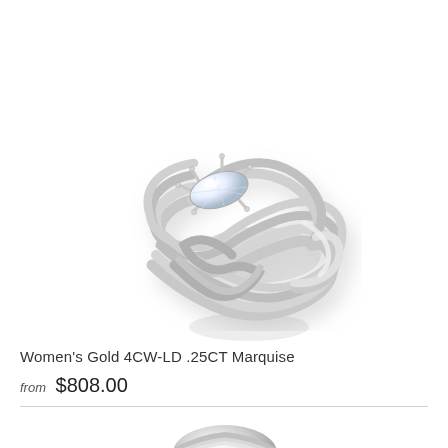[Figure (photo): A women's white gold puzzle ring with braided/woven band design featuring a marquise diamond solitaire set with prongs, shown at an angle. The band consists of multiple interwoven strands of white gold creating a complex knot pattern.]
Women's Gold 4CW-LD .25CT Marquise
from $808.00
[Figure (photo): Partial view of a second ring product visible at the bottom of the page.]